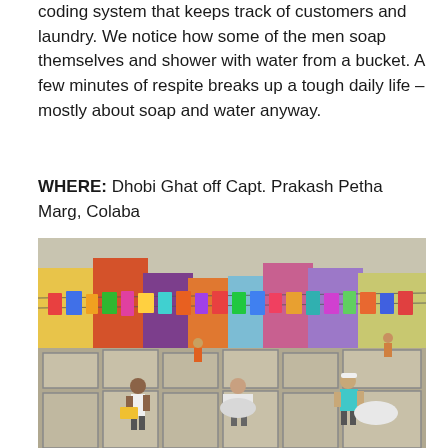coding system that keeps track of customers and laundry. We notice how some of the men soap themselves and shower with water from a bucket. A few minutes of respite breaks up a tough daily life – mostly about soap and water anyway.
WHERE: Dhobi Ghat off Capt. Prakash Petha Marg, Colaba
[Figure (photo): Outdoor laundry area (Dhobi Ghat) with men working at stone washing pits in the foreground, colorful clothes hanging on lines in the background, and brightly painted buildings behind them.]